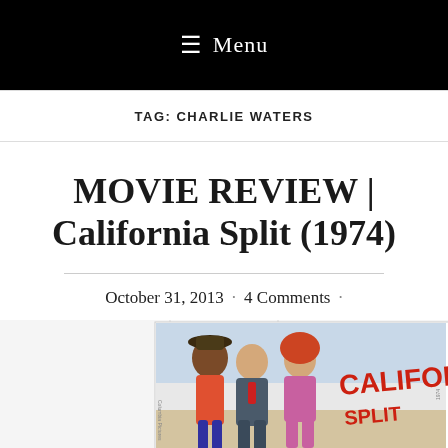≡ Menu
TAG: CHARLIE WATERS
MOVIE REVIEW | California Split (1974)
October 31, 2013 · 4 Comments ·
[Figure (illustration): Movie poster for California Split (1974) showing colorful illustrated characters including a man in a cowboy hat and a woman with red hair, with the California Split title text in large red letters]